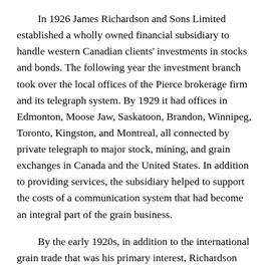In 1926 James Richardson and Sons Limited established a wholly owned financial subsidiary to handle western Canadian clients' investments in stocks and bonds. The following year the investment branch took over the local offices of the Pierce brokerage firm and its telegraph system. By 1929 it had offices in Edmonton, Moose Jaw, Saskatoon, Brandon, Winnipeg, Toronto, Kingston, and Montreal, all connected by private telegraph to major stock, mining, and grain exchanges in Canada and the United States. In addition to providing services, the subsidiary helped to support the costs of a communication system that had become an integral part of the grain business.
By the early 1920s, in addition to the international grain trade that was his primary interest, Richardson was pursuing numerous other activities either as a senior operating executive or as a director of major enterprises. For example, he was vice-president of the Great Lakes Transportation Company, a firm he had set up with businessman James Playfair. He was named a director of the